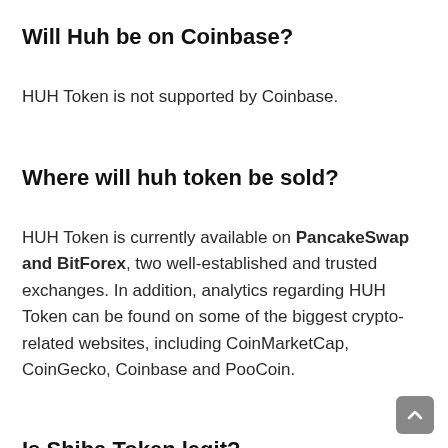Will Huh be on Coinbase?
HUH Token is not supported by Coinbase.
Where will huh token be sold?
HUH Token is currently available on PancakeSwap and BitForex, two well-established and trusted exchanges. In addition, analytics regarding HUH Token can be found on some of the biggest crypto-related websites, including CoinMarketCap, CoinGecko, Coinbase and PooCoin.
Is Shiba Token legit?
The Shiba Token (a.k.a. Shib) About to rocket along with the